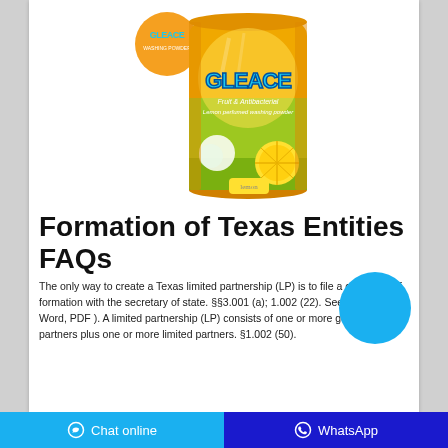[Figure (photo): Gleace brand washing powder product bag in orange and yellow packaging with a circular logo in the top left, lemon and bubbles imagery]
Formation of Texas Entities FAQs
The only way to create a Texas limited partnership (LP) is to file a certificate of formation with the secretary of state. §§3.001 (a); 1.002 (22). See Form 207 ( Word, PDF ). A limited partnership (LP) consists of one or more general partners plus one or more limited partners. §1.002 (50).
Chat online | WhatsApp